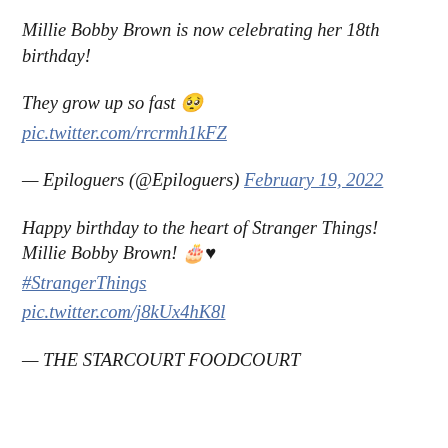Millie Bobby Brown is now celebrating her 18th birthday!
They grow up so fast 🥺
pic.twitter.com/rrcrmh1kFZ
— Epiloguers (@Epiloguers) February 19, 2022
Happy birthday to the heart of Stranger Things! Millie Bobby Brown! 🎂❤️
#StrangerThings
pic.twitter.com/j8kUx4hK8l
— THE STARCOURT FOODCOURT